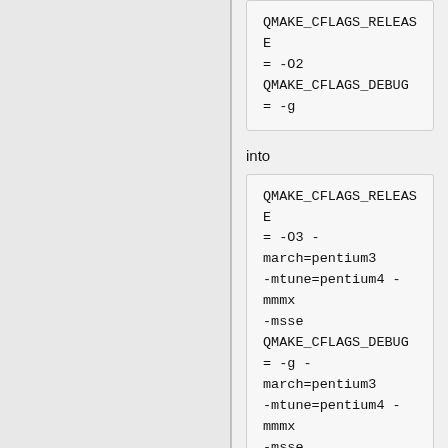[Figure (screenshot): Code block showing QMAKE_CFLAGS_RELEASE = -O2 and QMAKE_CFLAGS_DEBUG = -g]
into
[Figure (screenshot): Code block showing QMAKE_CFLAGS_RELEASE = -O3 -march=pentium3 -mtune=pentium4 -mmmx -msse QMAKE_CFLAGS_DEBUG = -g -march=pentium3 -mtune=pentium4 -mmmx -msse]
This will enable MMX and SSE instructions, and will also make sure Qt is tuned for modern architectures. It will also remove the exception threading support,